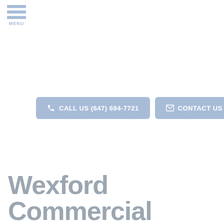[Figure (other): Hamburger menu icon with three horizontal light blue bars and MENU label below]
CALL US (647) 694-7721
CONTACT US
Wexford Commercial